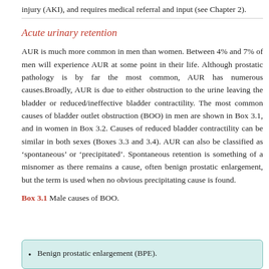injury (AKI), and requires medical referral and input (see Chapter 2).
Acute urinary retention
AUR is much more common in men than women. Between 4% and 7% of men will experience AUR at some point in their life. Although prostatic pathology is by far the most common, AUR has numerous causes.Broadly, AUR is due to either obstruction to the urine leaving the bladder or reduced/ineffective bladder contractility. The most common causes of bladder outlet obstruction (BOO) in men are shown in Box 3.1, and in women in Box 3.2. Causes of reduced bladder contractility can be similar in both sexes (Boxes 3.3 and 3.4). AUR can also be classified as ‘spontaneous’ or ‘precipitated’. Spontaneous retention is something of a misnomer as there remains a cause, often benign prostatic enlargement, but the term is used when no obvious precipitating cause is found.
Box 3.1 Male causes of BOO.
Benign prostatic enlargement (BPE).